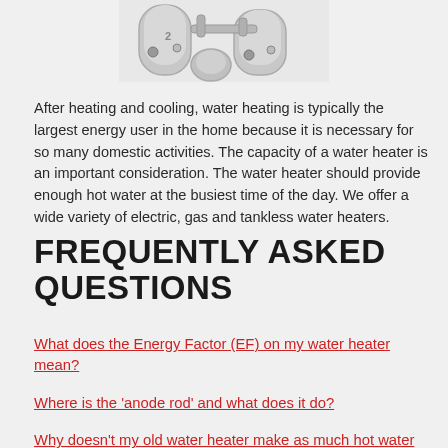[Figure (photo): Photograph of water heater tanks, partially visible at the top of the page, cropped]
After heating and cooling, water heating is typically the largest energy user in the home because it is necessary for so many domestic activities. The capacity of a water heater is an important consideration. The water heater should provide enough hot water at the busiest time of the day. We offer a wide variety of electric, gas and tankless water heaters.
FREQUENTLY ASKED QUESTIONS
What does the Energy Factor (EF) on my water heater mean?
Where is the 'anode rod' and what does it do?
Why doesn't my old water heater make as much hot water as it used to?